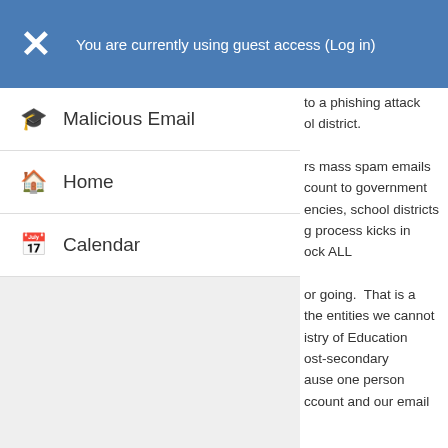You are currently using guest access (Log in)
Malicious Email
Home
Calendar
to a phishing attack ol district. rs mass spam emails count to government encies, school districts g process kicks in ock ALL or going.  That is a the entities we cannot istry of Education ost-secondary ause one person ccount and our email ls you will receive that u MUST immediately